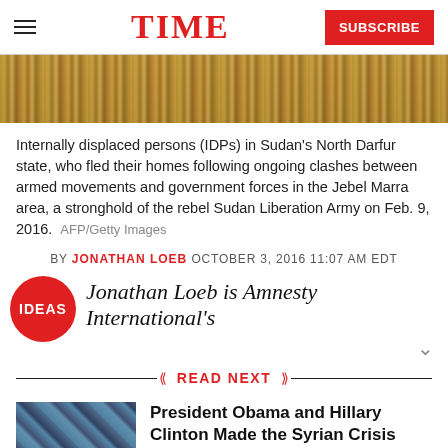TIME  SUBSCRIBE
[Figure (photo): Hero image showing dried grass/reeds, related to internally displaced persons in Sudan's North Darfur state]
Internally displaced persons (IDPs) in Sudan's North Darfur state, who fled their homes following ongoing clashes between armed movements and government forces in the Jebel Marra area, a stronghold of the rebel Sudan Liberation Army on Feb. 9, 2016.  AFP/Getty Images
BY JONATHAN LOEB OCTOBER 3, 2016 11:07 AM EDT
IDEAS  Jonathan Loeb is Amnesty International's
READ NEXT
President Obama and Hillary Clinton Made the Syrian Crisis Worse